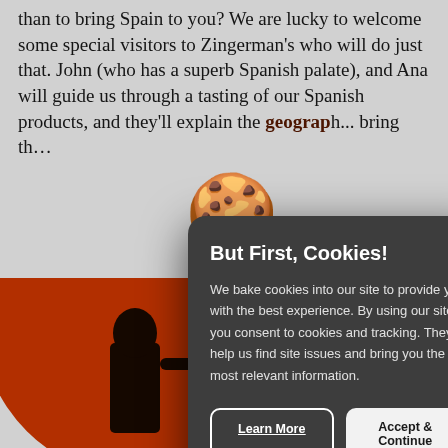than to bring Spain to you? We are lucky to welcome some special visitors to Zingerman's who will do just that. John (who has a superb Spanish palate), and Ana will guide us through a tasting of our Spanish products, and they'll explain the geography of those products, and geography... bring th...
[Figure (screenshot): Cookie consent modal overlay on a webpage. The modal has a dark grey background with rounded corners. It contains a cookie emoji icon, the title 'But First, Cookies!' in bold white text, a body text explaining cookie usage, and two buttons: 'Learn More' (outlined) and 'Accept & Continue' (filled white).]